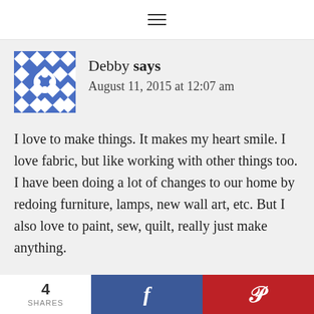≡
[Figure (illustration): Blue and white geometric patterned avatar icon used as commenter profile picture]
Debby says
August 11, 2015 at 12:07 am
I love to make things. It makes my heart smile. I love fabric, but like working with other things too. I have been doing a lot of changes to our home by redoing furniture, lamps, new wall art, etc. But I also love to paint, sew, quilt, really just make anything.
4 SHARES | Facebook share | Pinterest share